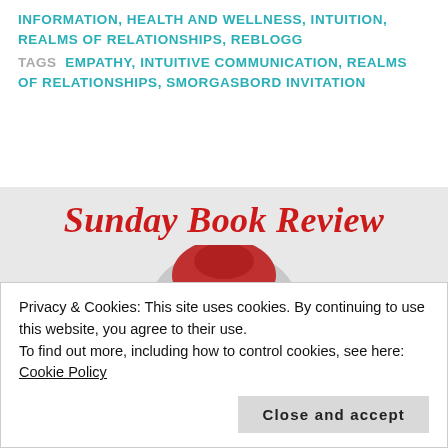INFORMATION, HEALTH AND WELLNESS, INTUITION, REALMS OF RELATIONSHIPS, REBLOGG
TAGS  EMPATHY, INTUITIVE COMMUNICATION, REALMS OF RELATIONSHIPS, SMORGASBORD INVITATION
[Figure (illustration): Sunday Book Review banner with red script text and illustrated figure wearing red hat]
Privacy & Cookies: This site uses cookies. By continuing to use this website, you agree to their use.
To find out more, including how to control cookies, see here: Cookie Policy
Close and accept